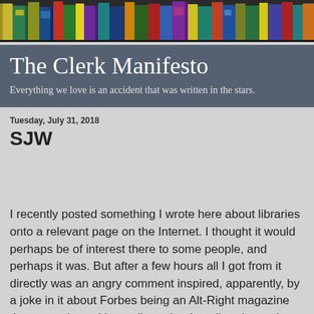[Figure (illustration): Colorful illustrated banner showing a row of books with various colored spines and covers on a shelf]
The Clerk Manifesto
Everything we love is an accident that was written in the stars.
Tuesday, July 31, 2018
SJW
I recently posted something I wrote here about libraries onto a relevant page on the Internet. I thought it would perhaps be of interest there to some people, and perhaps it was. But after a few hours all I got from it directly was an angry comment inspired, apparently, by a joke in it about Forbes being an Alt-Right magazine that was taken with an all too deadpan literalness. In the brief attack that followed I was